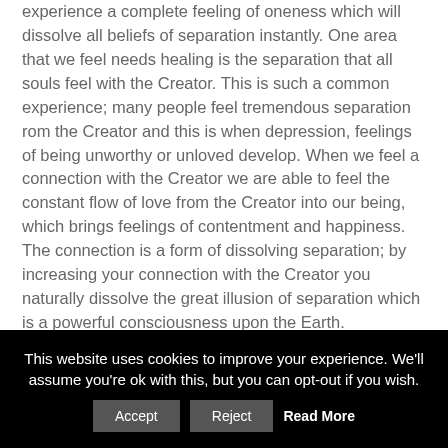experience a complete feeling of oneness which will dissolve all beliefs of separation instantly. One area that we feel needs healing is the separation that all souls feel with the Creator. This is such a common experience; many people feel tremendous separation rom the Creator and this is when depression, feelings of being unworthy or unloved develop. When we feel a connection with the Creator we are able to feel the constant flow of love from the Creator into our being, which brings feelings of contentment and happiness. The connection is a form of dissolving separation; by increasing your connection with the Creator you naturally dissolve the great illusion of separation which is a powerful consciousness upon the Earth.

Rather than dissolving the consciousness of separation we wish to
This website uses cookies to improve your experience. We'll assume you're ok with this, but you can opt-out if you wish. Accept Reject Read More